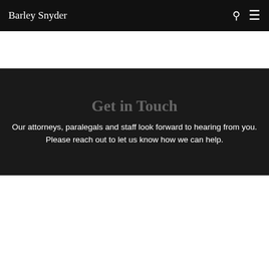Barley Snyder
Get in Touch
Our attorneys, paralegals and staff look forward to hearing from you. Please reach out to let us know how we can help.
By clicking “Accept All Cookies”, you agree to the storing of cookies on your device to enhance site navigation, analyze site usage, and assist in our marketing efforts.
Cookies Settings
Reject All
Accept All Cookies